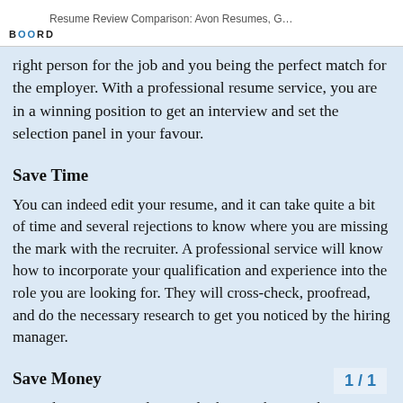BOORD | Resume Review Comparison: Avon Resumes, G…
right person for the job and you being the perfect match for the employer. With a professional resume service, you are in a winning position to get an interview and set the selection panel in your favour.
Save Time
You can indeed edit your resume, and it can take quite a bit of time and several rejections to know where you are missing the mark with the recruiter. A professional service will know how to incorporate your qualification and experience into the role you are looking for. They will cross-check, proofread, and do the necessary research to get you noticed by the hiring manager.
Save Money
Consider staying in a low-paid job or without a job against paying professional who can get you noticed in a co salary and opportunities by tweaking your